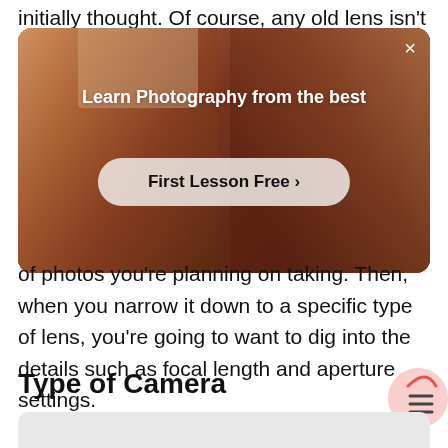initially thought. Of course, any old lens isn't going
[Figure (screenshot): Advertisement overlay with dark warm-toned background showing a person with arms raised. White bold text reads 'Learn Photography from the best'. Below is a rounded button with text 'First Lesson Free ›'. A close button (×) appears in the top-right corner.]
of photos you're planning on taking. Then, when you narrow it down to a specific type of lens, you're going to want to dig into the details such as focal length and aperture settings.
Type of Camera